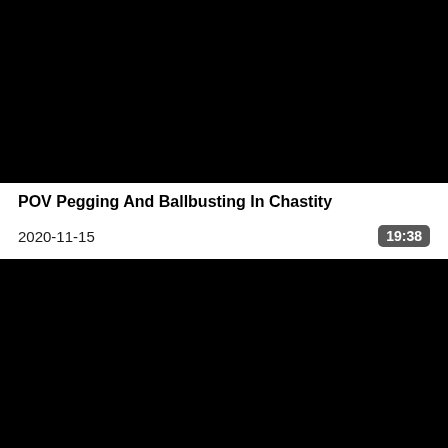[Figure (photo): Black video thumbnail rectangle at top]
POV Pegging And Ballbusting In Chastity
2020-11-15
19:38
[Figure (photo): Black video thumbnail rectangle at bottom]